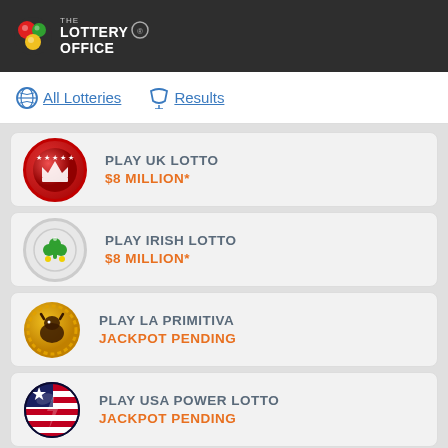THE LOTTERY OFFICE
All Lotteries
Results
PLAY UK LOTTO
$8 MILLION*
PLAY IRISH LOTTO
$8 MILLION*
PLAY LA PRIMITIVA
JACKPOT PENDING
PLAY USA POWER LOTTO
JACKPOT PENDING